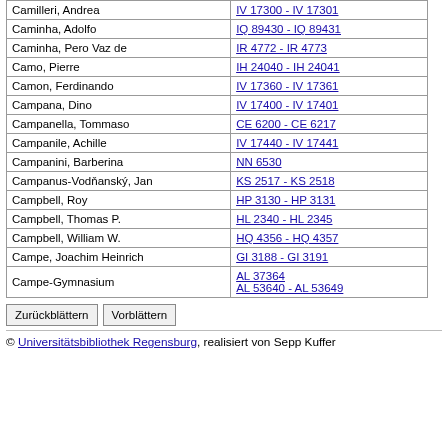| Name | Reference |
| --- | --- |
| Camilleri, Andrea | IV 17300 - IV 17301 |
| Caminha, Adolfo | IQ 89430 - IQ 89431 |
| Caminha, Pero Vaz de | IR 4772 - IR 4773 |
| Camo, Pierre | IH 24040 - IH 24041 |
| Camon, Ferdinando | IV 17360 - IV 17361 |
| Campana, Dino | IV 17400 - IV 17401 |
| Campanella, Tommaso | CE 6200 - CE 6217 |
| Campanile, Achille | IV 17440 - IV 17441 |
| Campanini, Barberina | NN 6530 |
| Campanus-Vodňanský, Jan | KS 2517 - KS 2518 |
| Campbell, Roy | HP 3130 - HP 3131 |
| Campbell, Thomas P. | HL 2340 - HL 2345 |
| Campbell, William W. | HQ 4356 - HQ 4357 |
| Campe, Joachim Heinrich | GI 3188 - GI 3191 |
| Campe-Gymnasium | AL 37364
AL 53640 - AL 53649 |
Zurückblättern | Vorblättern
© Universitätsbibliothek Regensburg, realisiert von Sepp Kuffer